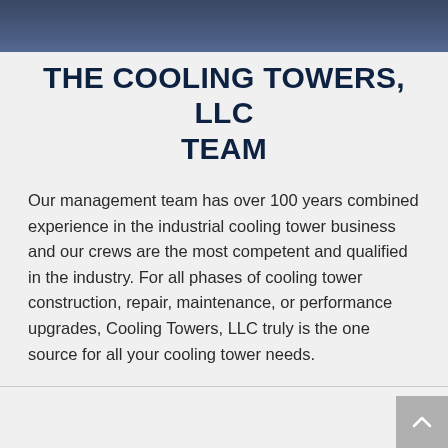[Figure (photo): Dark navy blue header image banner at the top of the page]
THE COOLING TOWERS, LLC TEAM
Our management team has over 100 years combined experience in the industrial cooling tower business and our crews are the most competent and qualified in the industry. For all phases of cooling tower construction, repair, maintenance, or performance upgrades, Cooling Towers, LLC truly is the one source for all your cooling tower needs.